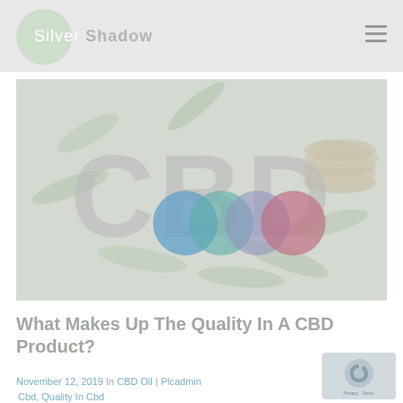Silver Shadow
[Figure (photo): Hero image with CBD text watermark overlaid on a background of green leaves and colorful overlapping circles (blue, teal, purple, pink) with stacked coins on the right side.]
What Makes Up The Quality In A CBD Product?
November 12, 2019   In CBD Oil   Plcadmin   Cbd, Quality In Cbd